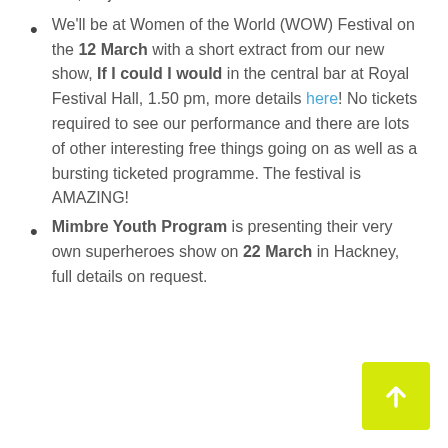events, do join us!
We'll be at Women of the World (WOW) Festival on the 12 March with a short extract from our new show, If I could I would in the central bar at Royal Festival Hall, 1.50 pm, more details here! No tickets required to see our performance and there are lots of other interesting free things going on as well as a bursting ticketed programme. The festival is AMAZING!
Mimbre Youth Program is presenting their very own superheroes show on 22 March in Hackney, full details on request.